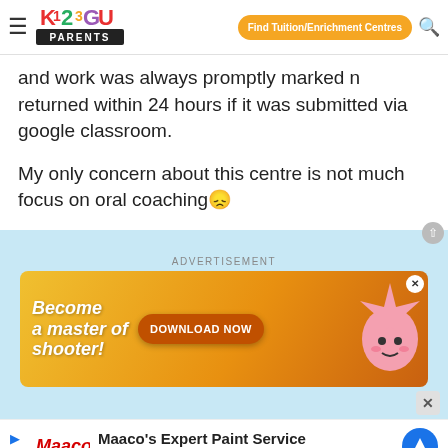K12 Parents — Find Tuition/Enrichment Centres
and work was always promptly marked n returned within 24 hours if it was submitted via google classroom.
My only concern about this centre is not much focus on oral coaching 😞
ADVERTISEMENT
[Figure (screenshot): Game advertisement banner: 'Become a master of shooter!' with orange DOWNLOAD NOW button and pink star character on golden background]
[Figure (screenshot): Maaco's Expert Paint Service advertisement: Maaco Auto Body Shop & Painting with navigation arrow icon]